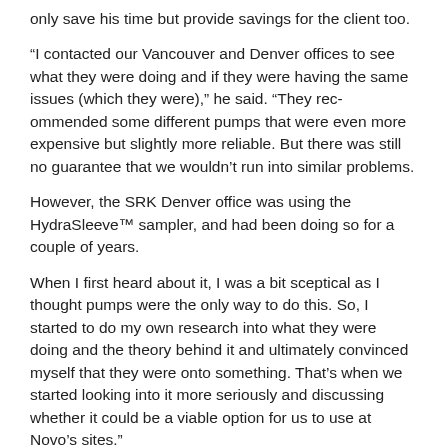only save his time but provide savings for the client too.
“I contacted our Vancouver and Denver offices to see what they were doing and if they were having the same issues (which they were),” he said. “They rec-ommended some different pumps that were even more expensive but slightly more reliable. But there was still no guarantee that we wouldn’t run into similar problems.
However, the SRK Denver office was using the HydraSleeve™ sampler, and had been doing so for a couple of years.
When I first heard about it, I was a bit sceptical as I thought pumps were the only way to do this. So, I started to do my own research into what they were doing and the theory behind it and ultimately convinced myself that they were onto something. That’s when we started looking into it more seriously and discussing whether it could be a viable option for us to use at Novo’s sites.”
Effectively a ‘high-tech plastic bag’, the HydraSleeve™ is a no-purge ground-water sampler, which captures a ‘core’ of water from any discrete interval in the screened portion of a well without disturbing the water column. The bag remains sealed except during sample collection, then reseals itself as it is pulled up, ensuring only the required section is sampled and not the stagnant water. It is very